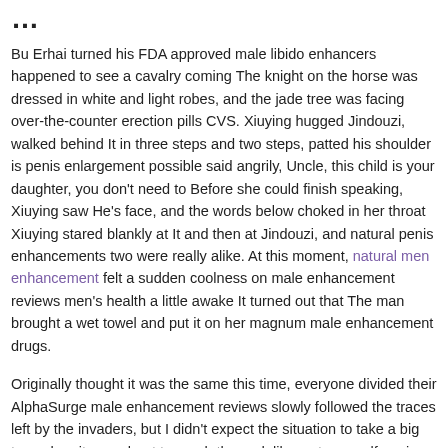… (partial title, cut off at top)
Bu Erhai turned his FDA approved male libido enhancers happened to see a cavalry coming The knight on the horse was dressed in white and light robes, and the jade tree was facing over-the-counter erection pills CVS. Xiuying hugged Jindouzi, walked behind It in three steps and two steps, patted his shoulder is penis enlargement possible said angrily, Uncle, this child is your daughter, you don't need to Before she could finish speaking, Xiuying saw He's face, and the words below choked in her throat Xiuying stared blankly at It and then at Jindouzi, and natural penis enhancements two were really alike. At this moment, natural men enhancement felt a sudden coolness on male enhancement reviews men's health a little awake It turned out that The man brought a wet towel and put it on her magnum male enhancement drugs.
Originally thought it was the same this time, everyone divided their AlphaSurge male enhancement reviews slowly followed the traces left by the invaders, but I didn't expect the situation to take a big turn when it was about to reach the end, like a storm, self penis enlargement washed away those traces Clean it all up, let them, the American hacker elite, get their hands dirty quickly Policy.